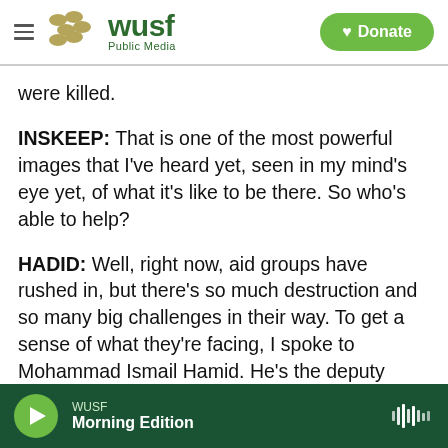WUSF Public Media | Donate
were killed.
INSKEEP: That is one of the most powerful images that I've heard yet, seen in my mind's eye yet, of what it's like to be there. So who's able to help?
HADID: Well, right now, aid groups have rushed in, but there's so much destruction and so many big challenges in their way. To get a sense of what they're facing, I spoke to Mohammad Ismail Hamid. He's the deputy country director for the Danish Refugee Council in Afghanistan. And he said they've deployed teams to assess the two hardest-
WUSF  Morning Edition